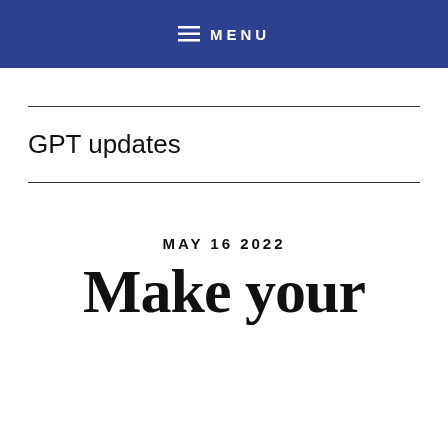≡ MENU
GPT updates
MAY 16 2022
Make your